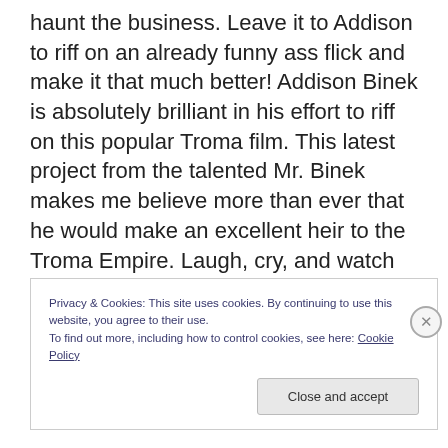haunt the business. Leave it to Addison to riff on an already funny ass flick and make it that much better! Addison Binek is absolutely brilliant in his effort to riff on this popular Troma film. This latest project from the talented Mr. Binek makes me believe more than ever that he would make an excellent heir to the Troma Empire. Laugh, cry, and watch again the latest from the amazing Addison Binek as shame on you for not supporting this effort as I give it 4 out of 4 stars.
Privacy & Cookies: This site uses cookies. By continuing to use this website, you agree to their use. To find out more, including how to control cookies, see here: Cookie Policy
Close and accept